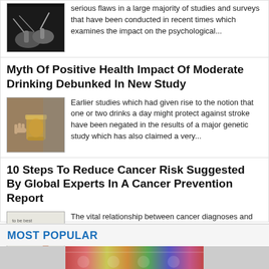[Figure (photo): Hands with wires/headphones, dark background]
serious flaws in a large majority of studies and surveys that have been conducted in recent times which examines the impact on the psychological...
Myth Of Positive Health Impact Of Moderate Drinking Debunked In New Study
[Figure (photo): Person holding a glass of whiskey/bourbon]
Earlier studies which had given rise to the notion that one or two drinks a day might protect against stroke have been negated in the results of a major genetic study which has also claimed a very...
10 Steps To Reduce Cancer Risk Suggested By Global Experts In A Cancer Prevention Report
[Figure (photo): Newspaper or document with words Cancer, tumor, spreads visible]
The vital relationship between cancer diagnoses and diet, physical activity and weight were confirmed in a new study that examined the lifestyle factors that could prevent cancer. The study was...
MOST POPULAR
[Figure (photo): Colorful banner image strip at bottom]